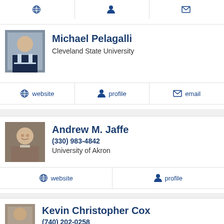[Figure (other): Top navigation bar with website, profile, email icons (partial, cropped)]
[Figure (photo): Headshot photo of Michael Pelagalli]
Michael Pelagalli
Cleveland State University
website   profile   email
[Figure (photo): Headshot photo of Andrew M. Jaffe]
Andrew M. Jaffe
(330) 983-4842
University of Akron
website   profile
[Figure (photo): Headshot photo of Kevin Christopher Cox]
Kevin Christopher Cox
(740) 202-0258